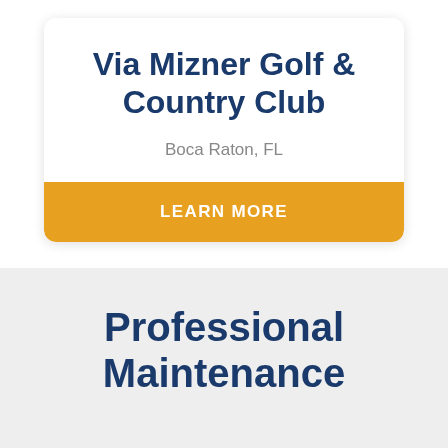Via Mizner Golf & Country Club
Boca Raton, FL
LEARN MORE
Professional Maintenance